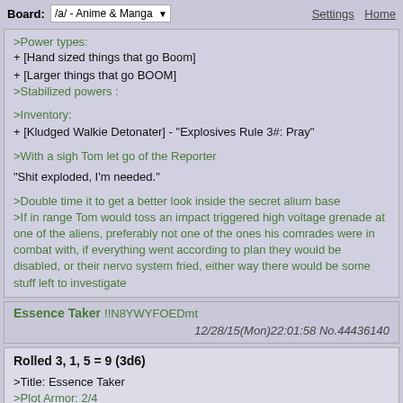Board: /a/ - Anime & Manga | Settings Home
Power types:
+ [Hand sized things that go Boom]
+ [Larger things that go BOOM]
>Stabilized powers :

>Inventory:
+ [Kludged Walkie Detonater] - "Explosives Rule 3#: Pray"

>With a sigh Tom let go of the Reporter

"Shit exploded, I'm needed."

>Double time it to get a better look inside the secret alium base
>If in range Tom would toss an impact triggered high voltage grenade at one of the aliens, preferably not one of the ones his comrades were in combat with, if everything went according to plan they would be disabled, or their nervo system fried, either way there would be some stuff left to investigate
Essence Taker !!N8YWYFOEDmt 12/28/15(Mon)22:01:58 No.44436140
Rolled 3, 1, 5 = 9 (3d6)

>Title: Essence Taker
>Plot Armor: 2/4
>Movement: 5 -1
>Offense: 2 +2 (Heavy Form)
>Defense: 4 (Armor Form)